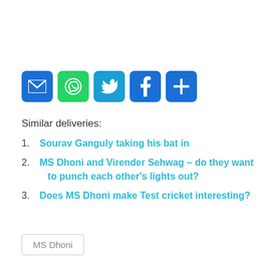[Figure (infographic): Row of five social sharing icon buttons: email (blue envelope), WhatsApp (green), Twitter (blue bird), Facebook (blue f), and a blue plus/more button]
Similar deliveries:
1. Sourav Ganguly taking his bat in
2. MS Dhoni and Virender Sehwag – do they want to punch each other's lights out?
3. Does MS Dhoni make Test cricket interesting?
MS Dhoni